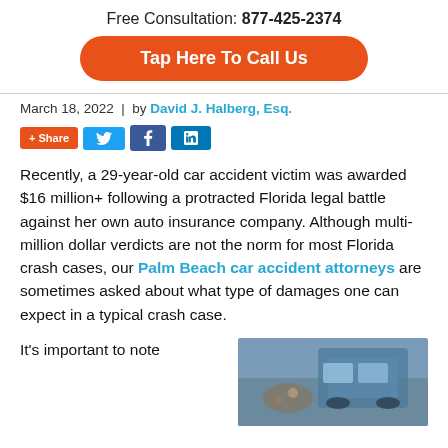Free Consultation: 877-425-2374
Tap Here To Call Us
March 18, 2022  |  by David J. Halberg, Esq.
[Figure (infographic): Social share buttons: +Share, Twitter, Facebook, LinkedIn]
Recently, a 29-year-old car accident victim was awarded $16 million+ following a protracted Florida legal battle against her own auto insurance company. Although multi-million dollar verdicts are not the norm for most Florida crash cases, our Palm Beach car accident attorneys are sometimes asked about what type of damages one can expect in a typical crash case.
It's important to note
[Figure (photo): Aerial photo of a car accident scene showing a damaged vehicle]